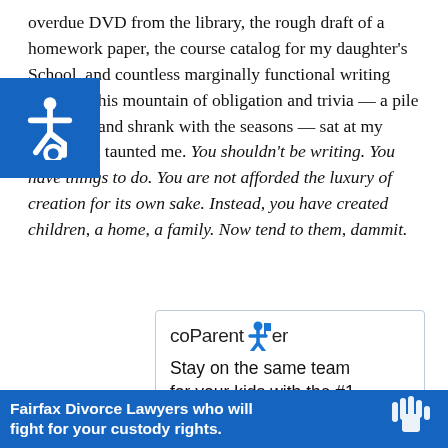overdue DVD from the library, the rough draft of a homework paper, the course catalog for my daughter’s School, and countless marginally functional writing uments. This mountain of obligation and trivia — a pile that grew and shrank with the seasons — sat at my elbow and taunted me. You shouldn’t be writing. You have things to do. You are not afforded the luxury of creation for its own sake. Instead, you have created children, a home, a family. Now tend to them, dammit.
[Figure (logo): Blue wheelchair accessibility icon on blue square background]
[Figure (infographic): coParenter app advertisement with logo showing a blue figure holding a flag, tagline: Stay on the same team for your kids with the #1 coparenting app]
Fairfax Divorce Lawyers who will fight for your custody rights.